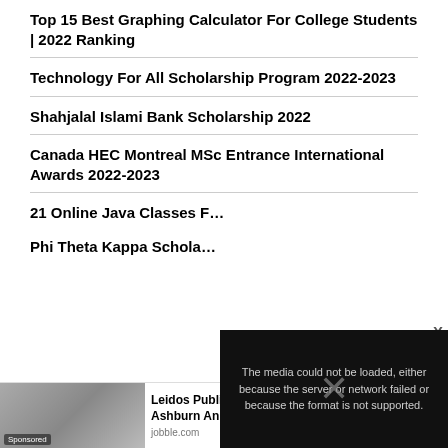Top 15 Best Graphing Calculator For College Students | 2022 Ranking
Technology For All Scholarship Program 2022-2023
Shahjalal Islami Bank Scholarship 2022
Canada HEC Montreal MSc Entrance International Awards 2022-2023
21 Online Java Classes F… 2022
Phi Theta Kappa Schola…
[Figure (screenshot): Media error overlay with text: The media could not be loaded, either because the server or network failed or because the format is not supported.]
[Figure (photo): Sponsored ad image showing a laptop/keyboard]
Leidos Public Accounting - Senior Jobs in Ashburn An...
jobble.com